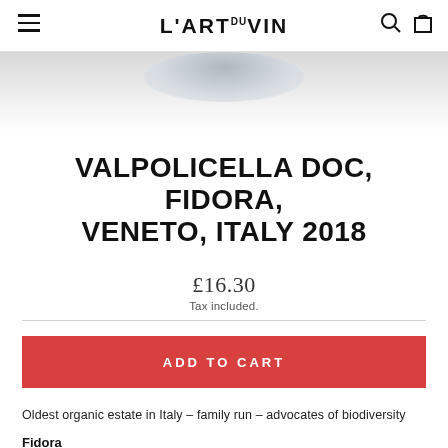L'ART DU VIN
[Figure (photo): Partial wine bottle image on grey gradient background]
VALPOLICELLA DOC, FIDORA, VENETO, ITALY 2018
£16.30
Tax included.
ADD TO CART
Oldest organic estate in Italy – family run – advocates of biodiversity
Fidora